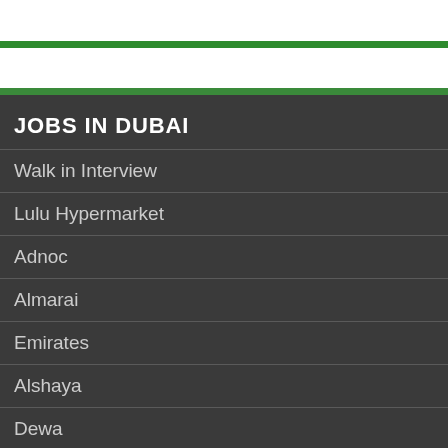JOBS IN DUBAI
Walk in Interview
Lulu Hypermarket
Adnoc
Almarai
Emirates
Alshaya
Dewa
Dubai
Khaleej
Carrefour